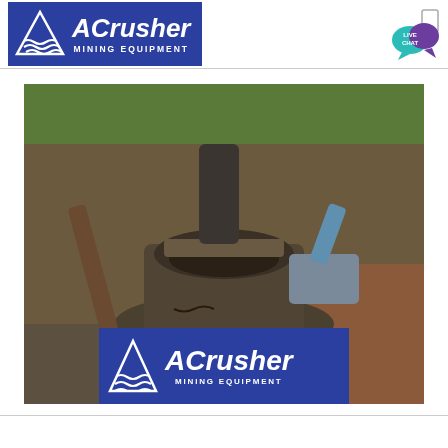[Figure (logo): ACrusher Mining Equipment logo with blue background, white triangle icon with wavy lines, and italic white text]
[Figure (photo): Photograph of a cone crusher mining machine outdoors on gravel ground, with ACrusher Mining Equipment watermark logo overlaid at bottom center]
[Figure (logo): Live chat speech bubble icon in teal/purple colors with text LIVE CHAT]